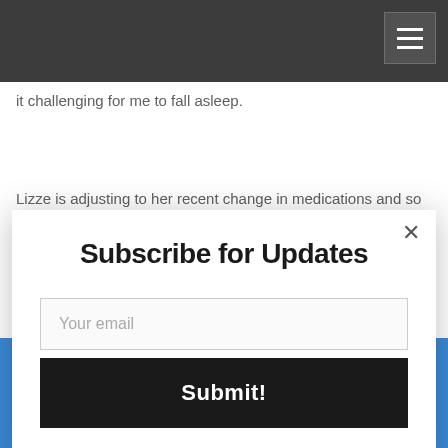it challenging for me to fall asleep.
Lizze is adjusting to her recent change in medications and so
[Figure (screenshot): Subscribe for Updates modal dialog with email input field and Submit button, overlaid on a blog page with a dark navigation header and blue footer bar. An X close button is visible in the top right of the modal. An AddThis badge appears in the lower right corner.]